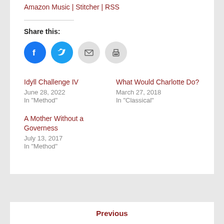Amazon Music | Stitcher | RSS
Share this:
[Figure (infographic): Four social share icon circles: Facebook (blue), Twitter (light blue), Email (gray), Print (gray)]
Idyll Challenge IV
June 28, 2022
In "Method"
What Would Charlotte Do?
March 27, 2018
In "Classical"
A Mother Without a Governess
July 13, 2017
In "Method"
Previous